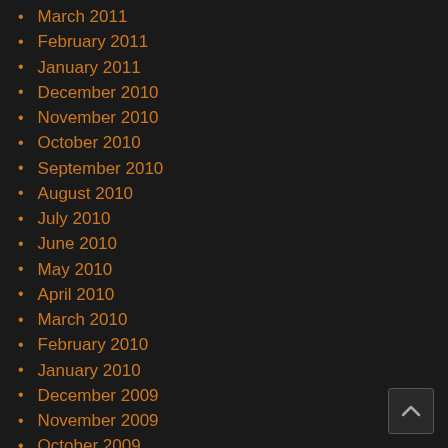March 2011
February 2011
January 2011
December 2010
November 2010
October 2010
September 2010
August 2010
July 2010
June 2010
May 2010
April 2010
March 2010
February 2010
January 2010
December 2009
November 2009
October 2009
September 2009
August 2009
July 2009
June 2009